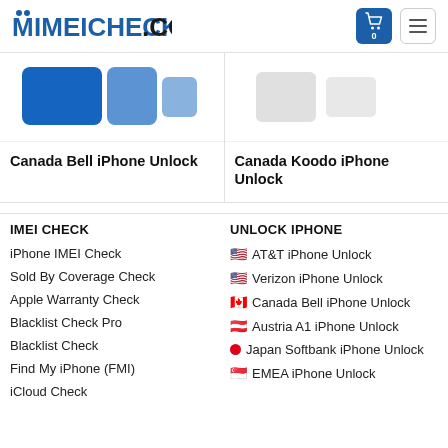MIMEICHECK.CO
[Figure (screenshot): Canada Bell iPhone Unlock product card with blue Bell logo]
Canada Bell iPhone Unlock
[Figure (screenshot): Canada Koodo iPhone Unlock product card]
Canada Koodo iPhone Unlock
IMEI CHECK
iPhone IMEI Check
Sold By Coverage Check
Apple Warranty Check
Blacklist Check Pro
Blacklist Check
Find My iPhone (FMI)
iCloud Check
UNLOCK IPHONE
AT&T iPhone Unlock
Verizon iPhone Unlock
Canada Bell iPhone Unlock
Austria A1 iPhone Unlock
Japan Softbank iPhone Unlock
EMEA iPhone Unlock